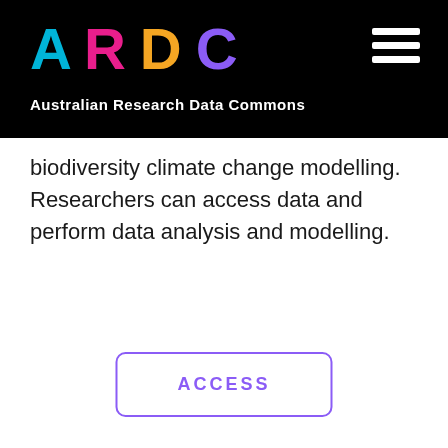ARDC — Australian Research Data Commons
biodiversity climate change modelling. Researchers can access data and perform data analysis and modelling.
ACCESS